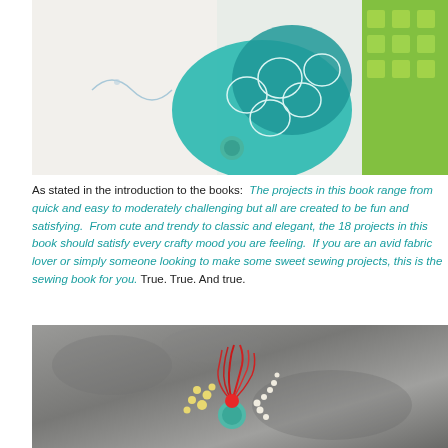[Figure (photo): Top photo showing colorful fabric/textile crafts including teal, green, and patterned cushions or craft items on a light background]
As stated in the introduction to the books:  The projects in this book range from quick and easy to moderately challenging but all are created to be fun and satisfying.  From cute and trendy to classic and elegant, the 18 projects in this book should satisfy every crafty mood you are feeling.  If you are an avid fabric lover or simply someone looking to make some sweet sewing projects, this is the sewing book for you. True. True. And true.
[Figure (photo): Bottom photo showing decorative craft items including red fiber/tassel and beaded ornaments on a gray stone or concrete background]